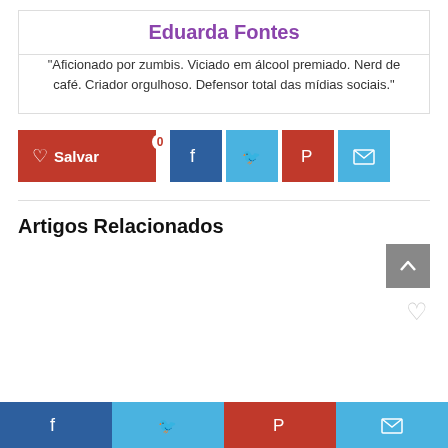Eduarda Fontes
“Aficionado por zumbis. Viciado em álcool premiado. Nerd de café. Criador orgulhoso. Defensor total das mídias sociais.”
[Figure (infographic): Share/save buttons row: red Save button with heart icon and count 0, Facebook blue button, Twitter light-blue button, Pinterest red button, Email light-blue button]
Artigos Relacionados
[Figure (infographic): Gray scroll-to-top arrow button and a heart outline icon in the related articles area]
[Figure (infographic): Bottom bar with four social share icons: Facebook (dark blue), Twitter (light blue), Pinterest (red), Email (light blue)]